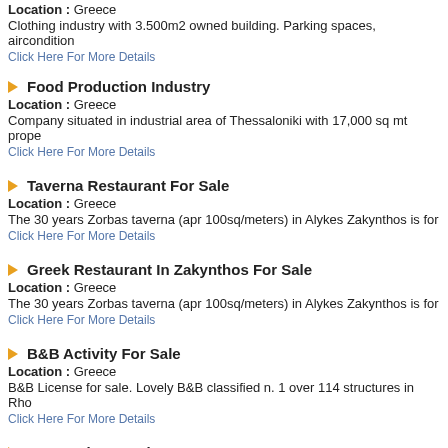Location : Greece
Clothing industry with 3.500m2 owned building. Parking spaces, aircondition
Click Here For More Details
Food Production Industry
Location : Greece
Company situated in industrial area of Thessaloniki with 17,000 sq mt prope
Click Here For More Details
Taverna Restaurant For Sale
Location : Greece
The 30 years Zorbas taverna (apr 100sq/meters) in Alykes Zakynthos is for
Click Here For More Details
Greek Restaurant In Zakynthos For Sale
Location : Greece
The 30 years Zorbas taverna (apr 100sq/meters) in Alykes Zakynthos is for
Click Here For More Details
B&B Activity For Sale
Location : Greece
B&B License for sale. Lovely B&B classified n. 1 over 114 structures in Rho
Click Here For More Details
Car Wash For Sale
Location : Greece